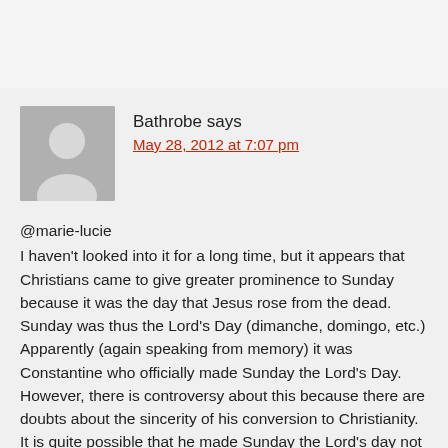Bathrobe says
May 28, 2012 at 7:07 pm
@marie-lucie
I haven't looked into it for a long time, but it appears that Christians came to give greater prominence to Sunday because it was the day that Jesus rose from the dead. Sunday was thus the Lord's Day (dimanche, domingo, etc.)
Apparently (again speaking from memory) it was Constantine who officially made Sunday the Lord's Day. However, there is controversy about this because there are doubts about the sincerity of his conversion to Christianity. It is quite possible that he made Sunday the Lord's day not because of the Resurrection but because it was the day of Sol Invictus, the official Sun god of the later Roman empire.